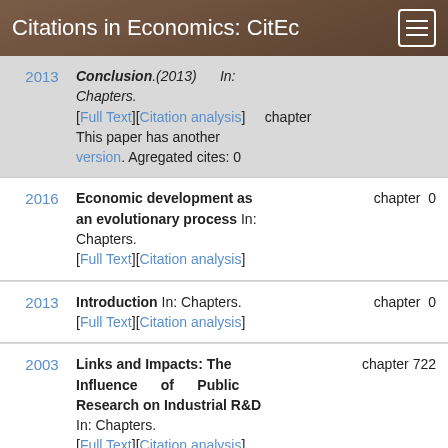Citations in Economics: CitEc
| Year | Entry | Type | Cites |
| --- | --- | --- | --- |
| 2013 | Conclusion.(2013) In: Chapters. [Full Text][Citation analysis] chapter This paper has another version. Agregated cites: 0 | chapter |  |
| 2016 | Economic development as an evolutionary process In: Chapters. [Full Text][Citation analysis] | chapter | 0 |
| 2013 | Introduction In: Chapters. [Full Text][Citation analysis] | chapter | 0 |
| 2003 | Links and Impacts: The Influence of Public Research on Industrial R&D In: Chapters. [Full Text][Citation analysis] | chapter | 722 |
|  | Links and Impacts: The Influence of Public ... |  |  |